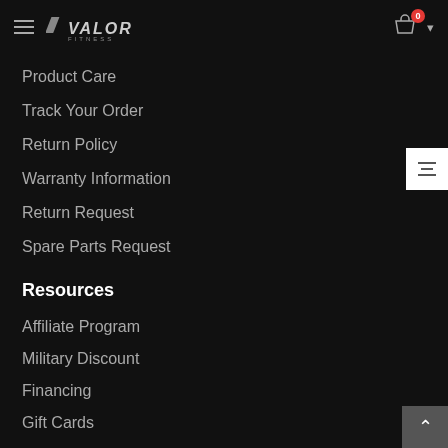Valor Fitness navigation header with hamburger menu, logo, cart icon with badge 0
Product Care
Track Your Order
Return Policy
Warranty Information
Return Request
Spare Parts Request
Resources
Affiliate Program
Military Discount
Financing
Gift Cards
Privacy Statement
Report a Website Issue